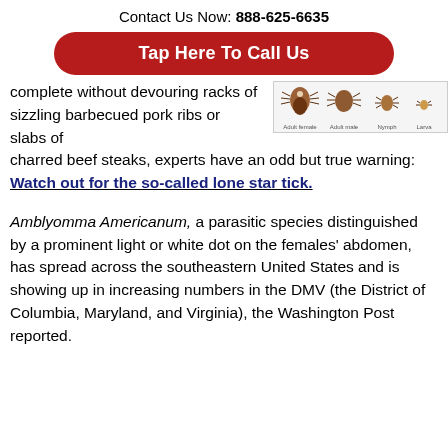Contact Us Now: 888-625-6635
Tap Here To Call Us
[Figure (illustration): Illustration showing four stages/types of lone star tick: Adult female, Adult male, Nymph, Larva]
complete without devouring racks of sizzling barbecued pork ribs or slabs of charred beef steaks, experts have an odd but true warning: Watch out for the so-called lone star tick.
Amblyomma Americanum, a parasitic species distinguished by a prominent light or white dot on the females' abdomen, has spread across the southeastern United States and is showing up in increasing numbers in the DMV (the District of Columbia, Maryland, and Virginia), the Washington Post reported.